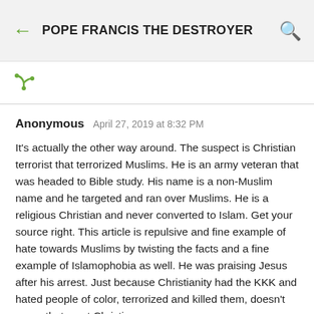POPE FRANCIS THE DESTROYER
Anonymous  April 27, 2019 at 8:32 PM

It's actually the other way around. The suspect is Christian terrorist that terrorized Muslims. He is an army veteran that was headed to Bible study. His name is a non-Muslim name and he targeted and ran over Muslims. He is a religious Christian and never converted to Islam. Get your source right. This article is repulsive and fine example of hate towards Muslims by twisting the facts and a fine example of Islamophobia as well. He was praising Jesus after his arrest. Just because Christianity had the KKK and hated people of color, terrorized and killed them, doesn't mean that most Christians are...